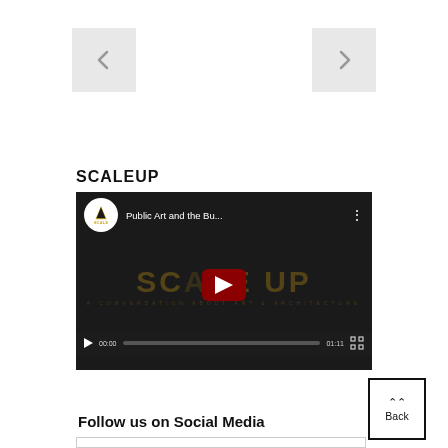[Figure (screenshot): Left navigation arrow button (chevron pointing left) on light gray background]
[Figure (screenshot): Right navigation arrow button (chevron pointing right) on light gray background]
SCALEUP
[Figure (screenshot): YouTube embedded video player showing 'Public Art and the Bu...' by SCALEUP channel. Dark background with SCALEUP logo watermark. Red play button in center. Controls show 00:00 / 01:11 with progress bar and fullscreen button.]
[Figure (screenshot): Back button with double upward chevron and label 'Back', boxed with black border]
Follow us on Social Media
[Figure (screenshot): Social media bar at bottom (partially visible)]